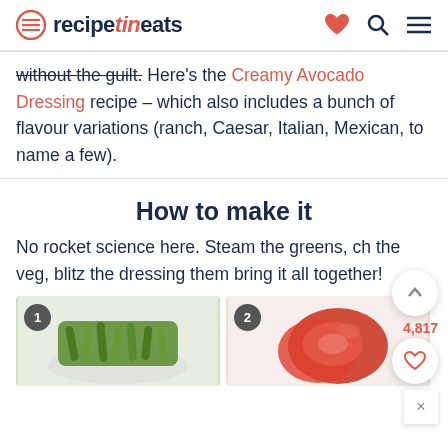recipetineats
without the guilt. Here's the Creamy Avocado Dressing recipe – which also includes a bunch of flavour variations (ranch, Caesar, Italian, Mexican, to name a few).
How to make it
No rocket science here. Steam the greens, ch the veg, blitz the dressing them bring it all together!
[Figure (photo): Step 1: Green beans chopped in a bowl]
[Figure (photo): Step 2: Tomatoes being cut]